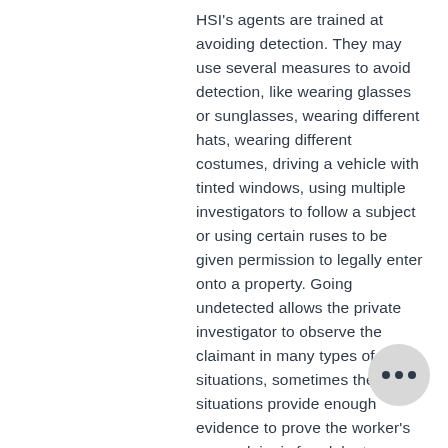HSI's agents are trained at avoiding detection. They may use several measures to avoid detection, like wearing glasses or sunglasses, wearing different hats, wearing different costumes, driving a vehicle with tinted windows, using multiple investigators to follow a subject or using certain ruses to be given permission to legally enter onto a property. Going undetected allows the private investigator to observe the claimant in many types of situations, sometimes these situations provide enough evidence to prove the worker's comp claim is fraudulent.
Protect your business from this common type of fraud by letting HSI private investigators handle your case.
Fortunately, today you do not have to take